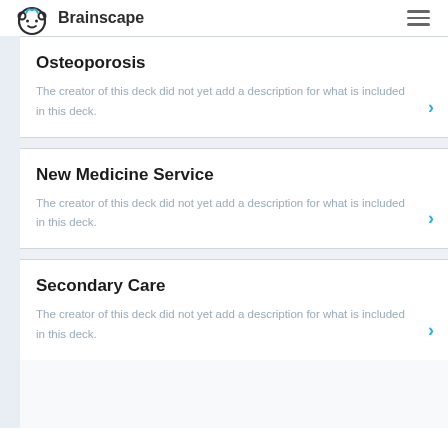Brainscape
Osteoporosis
The creator of this deck did not yet add a description for what is included in this deck.
New Medicine Service
The creator of this deck did not yet add a description for what is included in this deck.
Secondary Care
The creator of this deck did not yet add a description for what is included in this deck.